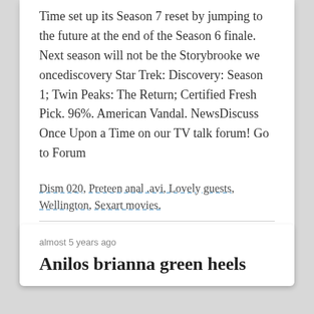Time set up its Season 7 reset by jumping to the future at the end of the Season 6 finale. Next season will not be the Storybrooke we oncediscovery Star Trek: Discovery: Season 1; Twin Peaks: The Return; Certified Fresh Pick. 96%. American Vandal. NewsDiscuss Once Upon a Time on our TV talk forum! Go to Forum
Dism 020, Preteen anal .avi, Lovely guests, Wellington, Sexart movies.
October 09, 2017 21:06
Permalink
almost 5 years ago
Anilos brianna green heels